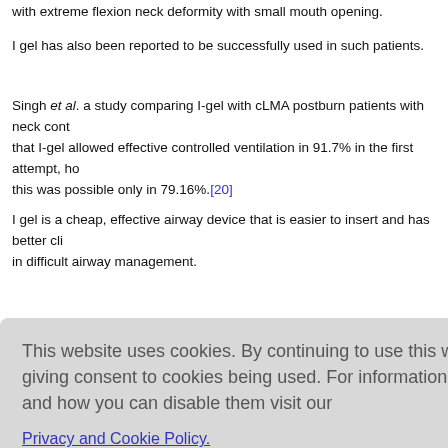with extreme flexion neck deformity with small mouth opening.
I gel has also been reported to be successfully used in such patients.
Singh et al. a study comparing I-gel with cLMA postburn patients with neck contracture found that I-gel allowed effective controlled ventilation in 91.7% in the first attempt, however, with cLMA this was possible only in 79.16%.[20]
I gel is a cheap, effective airway device that is easier to insert and has better clinical outcome in difficult airway management.
This website uses cookies. By continuing to use this website you are giving consent to cookies being used. For information on cookies and how you can disable them visit our Privacy and Cookie Policy.
AGREE & PROCEED
eously breat
laryngosco neck and b d extension piration. Ho ddition to th
learning curve and may not be available in every setup.[22]